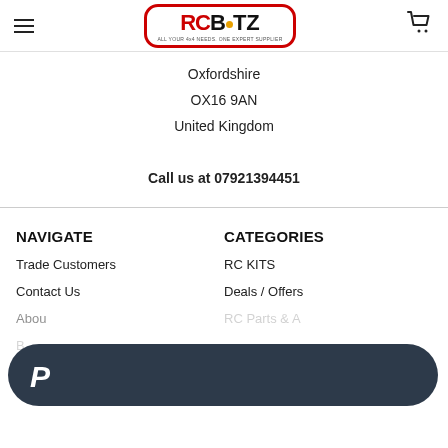[Figure (logo): RCBiTZ logo with red border, red RC, black BiTZ text with orange dot, tagline below]
Oxfordshire
OX16 9AN
United Kingdom

Call us at 07921394451
NAVIGATE
CATEGORIES
Trade Customers
RC KITS
Contact Us
Deals / Offers
About Us
RC Parts & Accessories
Blog
Social Media
Scale Crawler Accessories
[Figure (other): Dark PayPal overlay bar with PayPal P logo icon in white]